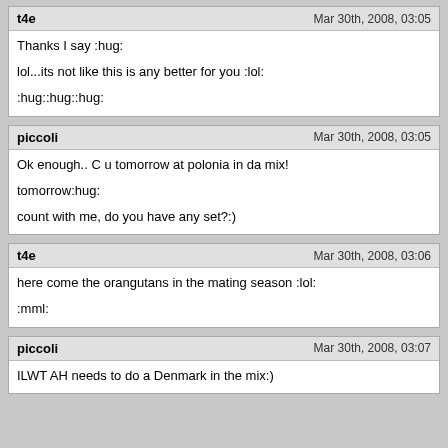t4e | Mar 30th, 2008, 03:05
Thanks I say :hug:

lol...its not like this is any better for you :lol:

:hug::hug::hug:
piccoli | Mar 30th, 2008, 03:05
Ok enough.. C u tomorrow at polonia in da mix!

tomorrow:hug:

count with me, do you have any set?:)
t4e | Mar 30th, 2008, 03:06
here come the orangutans in the mating season :lol:

:mml:
piccoli | Mar 30th, 2008, 03:07
ILWT AH needs to do a Denmark in the mix:)